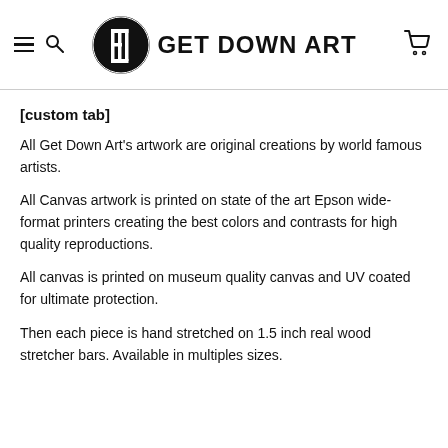GET DOWN ART
[custom tab]
All Get Down Art's artwork are original creations by world famous artists.
All Canvas artwork is printed on state of the art Epson wide-format printers creating the best colors and contrasts for high quality reproductions.
All canvas is printed on museum quality canvas and UV coated for ultimate protection.
Then each piece is hand stretched on 1.5 inch real wood stretcher bars. Available in multiples sizes.